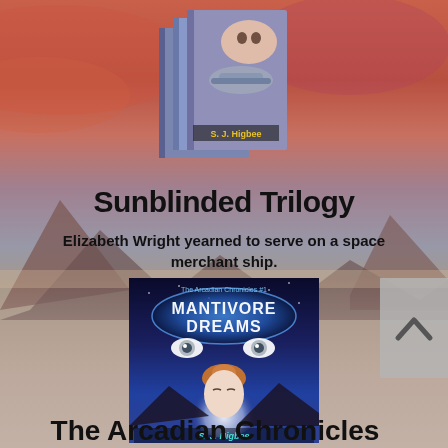[Figure (illustration): Book cover image for Sunblinded Trilogy by S. J. Higbee, showing a set of three sci-fi books with a spacecraft and a woman's face, against a reddish atmospheric background]
Sunblinded Trilogy
Elizabeth Wright yearned to serve on a space merchant ship.
[Figure (illustration): Book cover for Mantivore Dreams by S. J. Higbee, The Arcadian Chronicles #1, showing a woman with red hair, glowing eyes above her, and a planet in the background]
The Arcadian Chronicles